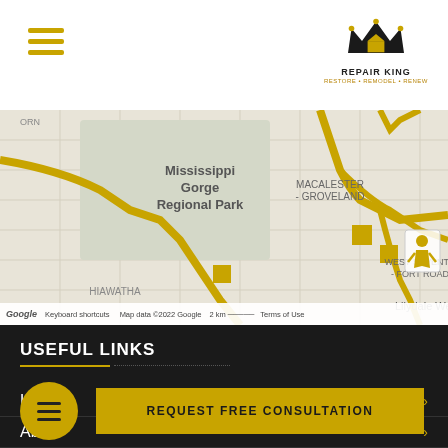Repair King - RESTORE • REMODEL • RENEW
[Figure (map): Google Maps view showing Mississippi Gorge Regional Park, MACALESTER-GROVELAND, WEST SEVENTH - FORT ROAD, HIAWATHA, Lilydale West areas with highlighted routes in gold/yellow. Map data ©2022 Google, 2 km scale.]
USEFUL LINKS
Home
Ab...
Services
REQUEST FREE CONSULTATION